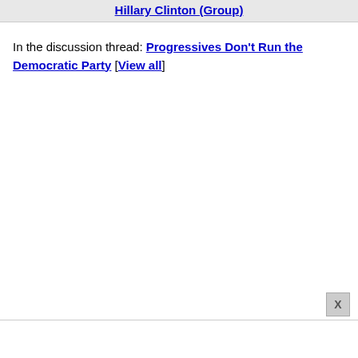Hillary Clinton (Group)
In the discussion thread: Progressives Don't Run the Democratic Party [View all]